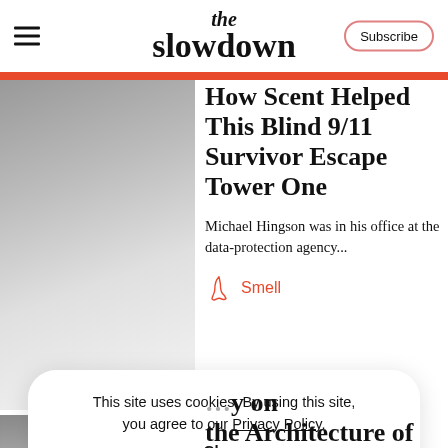the slowdown — Subscribe
How Scent Helped This Blind 9/11 Survivor Escape Tower One
Michael Hingson was in his office at the data-protection agency...
Smell
This site uses cookies. By using this site, you agree to our Privacy Policy. Close
...y on the Architecture of